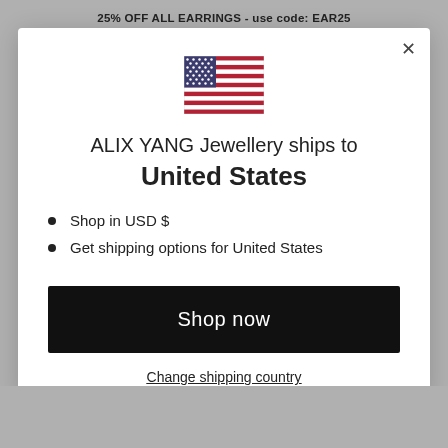25% OFF ALL EARRINGS - use code: EAR25
[Figure (illustration): US flag emoji/icon]
ALIX YANG Jewellery ships to United States
Shop in USD $
Get shipping options for United States
Shop now
Change shipping country